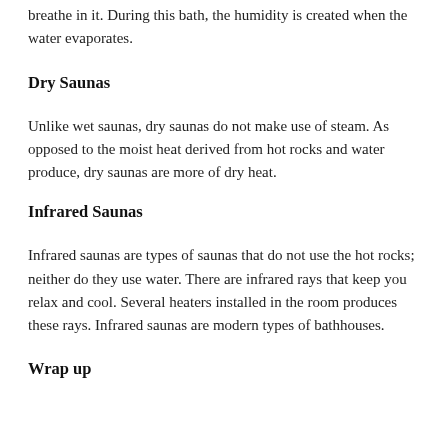breathe in it. During this bath, the humidity is created when the water evaporates.
Dry Saunas
Unlike wet saunas, dry saunas do not make use of steam. As opposed to the moist heat derived from hot rocks and water produce, dry saunas are more of dry heat.
Infrared Saunas
Infrared saunas are types of saunas that do not use the hot rocks; neither do they use water. There are infrared rays that keep you relax and cool. Several heaters installed in the room produces these rays. Infrared saunas are modern types of bathhouses.
Wrap up